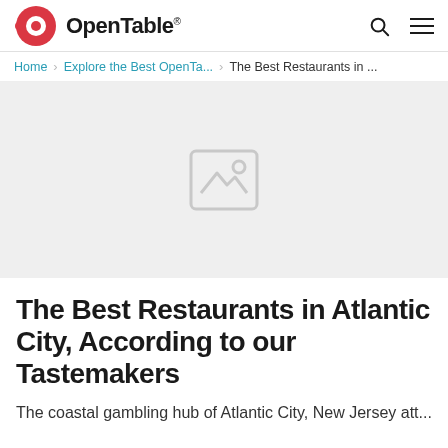OpenTable
Home › Explore the Best OpenTa... › The Best Restaurants in ...
[Figure (photo): Hero image placeholder - light gray background with image icon in center]
The Best Restaurants in Atlantic City, According to our Tastemakers
The coastal gambling hub of Atlantic City, New Jersey att...